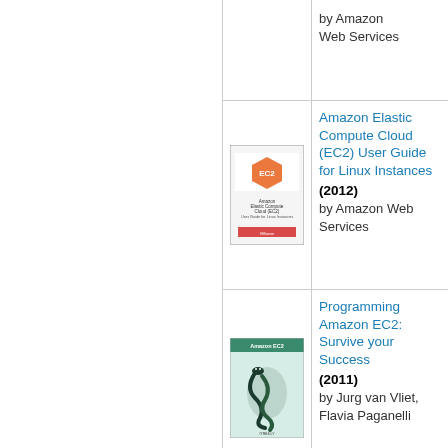by Amazon Web Services
[Figure (illustration): Book cover: Amazon Elastic Compute Cloud (EC2) User Guide for Linux Instances]
Amazon Elastic Compute Cloud (EC2) User Guide for Linux Instances (2012) by Amazon Web Services
[Figure (illustration): Book cover: Programming Amazon EC2: Survive your Success]
Programming Amazon EC2: Survive your Success (2011) by Jurg van Vliet, Flavia Paganelli
[Figure (illustration): Book cover: Programming Amazon Web Services: S3, EC2, SQS...]
Programming Amazon Web Services: S3, EC2, SQS...